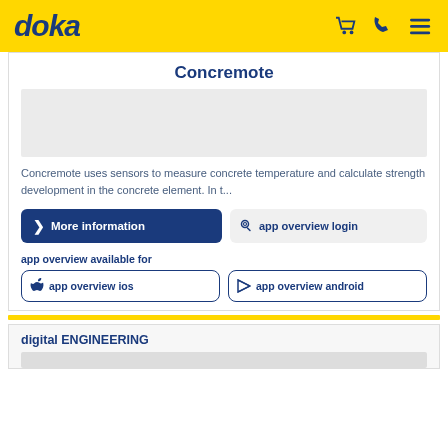doka
Concremote
[Figure (photo): Concremote product image placeholder]
Concremote uses sensors to measure concrete temperature and calculate strength development in the concrete element. In t...
More information
app overview login
app overview available for
app overview ios
app overview android
digital ENGINEERING